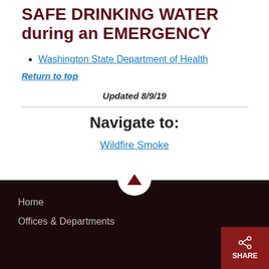SAFE DRINKING WATER during an EMERGENCY
Washington State Department of Health
Return to top
Updated 8/9/19
Navigate to:
Wildfire Smoke
Home
Offices & Departments